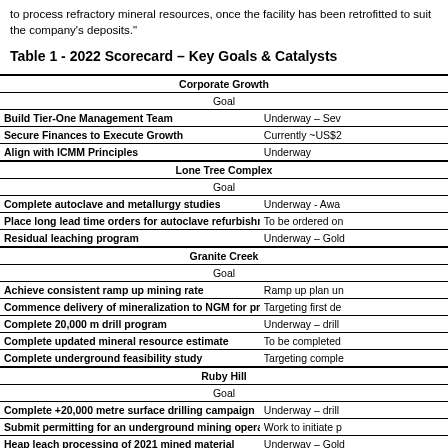to process refractory mineral resources, once the facility has been retrofitted to suit the company's deposits."
Table 1 - 2022 Scorecard – Key Goals & Catalysts
| Goal | Status |
| --- | --- |
| Corporate Growth |  |
| Goal |  |
| Build Tier-One Management Team | Underway – Sev |
| Secure Finances to Execute Growth | Currently ~US$2 |
| Align with ICMM Principles | Underway |
| Lone Tree Complex |  |
| Goal |  |
| Complete autoclave and metallurgy studies | Underway - Awa |
| Place long lead time orders for autoclave refurbishment | To be ordered on |
| Residual leaching program | Underway – Gold |
| Granite Creek |  |
| Goal |  |
| Achieve consistent ramp up mining rate | Ramp up plan un |
| Commence delivery of mineralization to NGM for processing | Targeting first de |
| Complete 20,000 m drill program | Underway – drill |
| Complete updated mineral resource estimate | To be completed |
| Complete underground feasibility study | Targeting comple |
| Ruby Hill |  |
| Goal |  |
| Complete +20,000 metre surface drilling campaign | Underway – drill |
| Submit permitting for an underground mining operation | Work to initiate p |
| Heap leach processing of 2021 mined material | Underway – Gold |
| Complete updated mineral resource estimate | To be completed |
| Complete PEA or Pre-Feasibility study | Targeting comple |